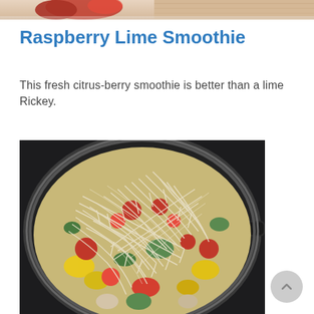[Figure (photo): Top portion of a raspberry lime smoothie photo, showing raspberries and a light background, cropped at the top of the page]
Raspberry Lime Smoothie
This fresh citrus-berry smoothie is better than a lime Rickey.
[Figure (photo): A frying pan filled with vegetables including cherry tomatoes, zucchini, yellow peppers, mushrooms, and bean sprouts on a dark stovetop]